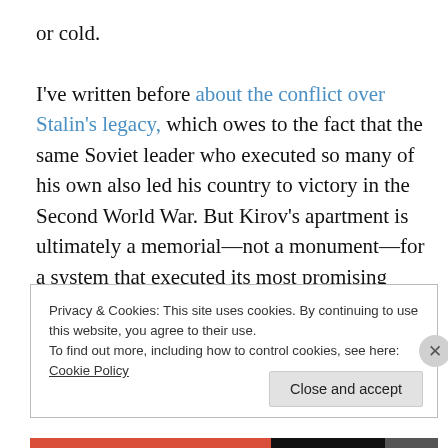or cold.

I've written before about the conflict over Stalin's legacy, which owes to the fact that the same Soviet leader who executed so many of his own also led his country to victory in the Second World War. But Kirov's apartment is ultimately a memorial—not a monument—for a system that executed its most promising leaders and struck fear into the hearts of its citizens.
Privacy & Cookies: This site uses cookies. By continuing to use this website, you agree to their use.
To find out more, including how to control cookies, see here: Cookie Policy